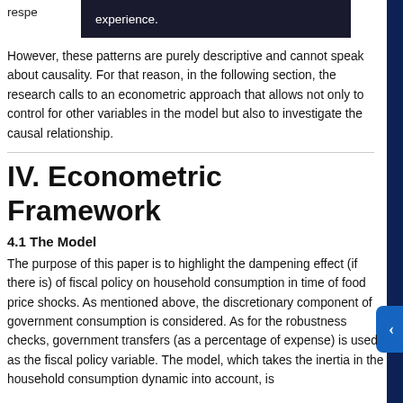respe
experience.
However, these patterns are purely descriptive and cannot speak about causality. For that reason, in the following section, the research calls to an econometric approach that allows not only to control for other variables in the model but also to investigate the causal relationship.
IV. Econometric Framework
4.1 The Model
The purpose of this paper is to highlight the dampening effect (if there is) of fiscal policy on household consumption in time of food price shocks. As mentioned above, the discretionary component of government consumption is considered. As for the robustness checks, government transfers (as a percentage of expense) is used as the fiscal policy variable. The model, which takes the inertia in the household consumption dynamic into account, is